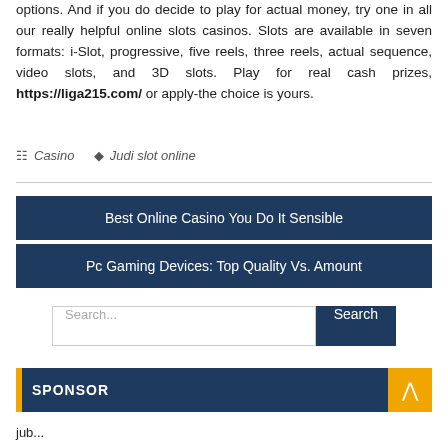options. And if you do decide to play for actual money, try one in all our really helpful online slots casinos. Slots are available in seven formats: i-Slot, progressive, five reels, three reels, actual sequence, video slots, and 3D slots. Play for real cash prizes, https://liga215.com/ or apply-the choice is yours.
Casino   Judi slot online
Best Online Casino You Do It Sensible
Pc Gaming Devices: Top Quality Vs. Amount
Search...
SPONSOR
jub...